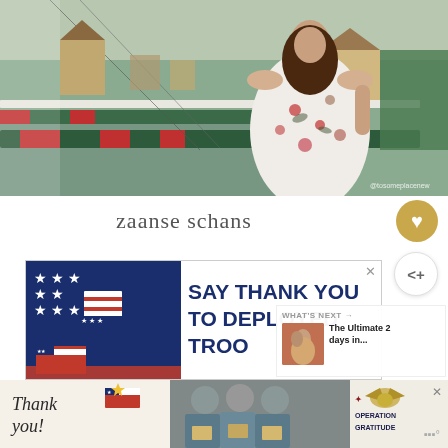[Figure (photo): Woman in floral off-shoulder dress standing on a bridge/dock at Zaanse Schans, Netherlands. Green and red painted wooden bridge bars visible, waterway in background with traditional Dutch buildings. Watermark @tosomeplacenew in bottom right.]
zaanse schans
[Figure (photo): Advertisement banner: 'SAY THANK YOU TO DEPLOYED TROO...' with patriotic Uncle Sam hat and American flag imagery on blue background]
[Figure (photo): Bottom advertisement banner for Operation Gratitude: 'Thank you!' text with American flag pencil graphic, photo of masked people holding packages, and Operation Gratitude logo with eagle]